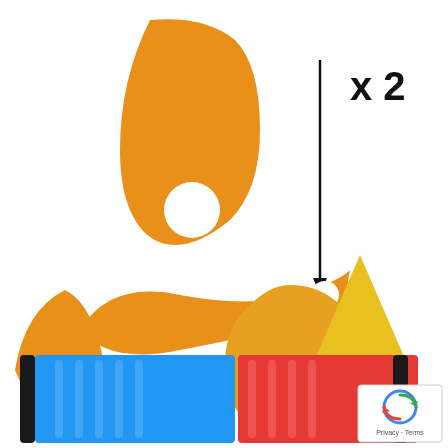[Figure (photo): Product photo showing orange/yellow plastic scraper/squeegee tools set: top center shows a large orange rounded scraper with hole, middle row shows a fish-shaped orange scraper, a teardrop/oval scraper with slot, and a yellow triangle-shaped scraper. Bottom row shows a blue squeegee with black fabric sleeve on left and a red squeegee with black fabric sleeve on right. An arrow points from the large orange scraper down to the smaller scrapers, and 'x2' label appears top right indicating quantity.]
x 2